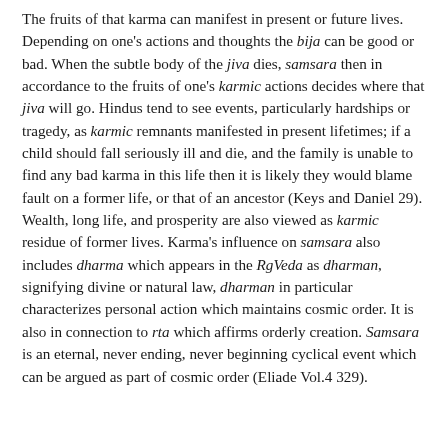The fruits of that karma can manifest in present or future lives. Depending on one's actions and thoughts the bija can be good or bad. When the subtle body of the jiva dies, samsara then in accordance to the fruits of one's karmic actions decides where that jiva will go. Hindus tend to see events, particularly hardships or tragedy, as karmic remnants manifested in present lifetimes; if a child should fall seriously ill and die, and the family is unable to find any bad karma in this life then it is likely they would blame fault on a former life, or that of an ancestor (Keys and Daniel 29). Wealth, long life, and prosperity are also viewed as karmic residue of former lives. Karma's influence on samsara also includes dharma which appears in the RgVeda as dharman, signifying divine or natural law, dharman in particular characterizes personal action which maintains cosmic order. It is also in connection to rta which affirms orderly creation. Samsara is an eternal, never ending, never beginning cyclical event which can be argued as part of cosmic order (Eliade Vol.4 329).